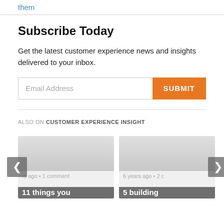them
Subscribe Today
Get the latest customer experience news and insights delivered to your inbox.
Email Address  SUBMIT
ALSO ON CUSTOMER EXPERIENCE INSIGHT
[Figure (screenshot): Two article preview cards. Left card: '...rs ago • 1 comment' and title '11 things you'. Right card: '6 years ago • 2 c' and title '5 building'. Navigation arrows on left and right sides.]